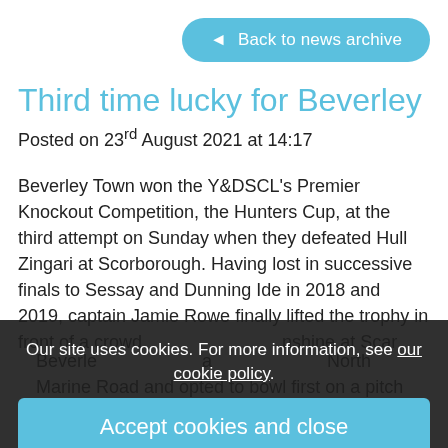◄ Back to news archive
Third time lucky for Beverley
Posted on 23rd August 2021 at 14:17
Beverley Town won the Y&DSCL's Premier Knockout Competition, the Hunters Cup, at the third attempt on Sunday when they defeated Hull Zingari at Scorborough. Having lost in successive finals to Sessay and Dunning Ide in 2018 and 2019, captain Jamie Rowe finally lifted the trophy in front of a crowd enjoying the sunshine at Scar...
Our site uses cookies. For more information, see our cookie policy.
Accept cookies and close
Reject cookies
Manage settings
Beverle... a ...North Marine Road and opted to bowl first on a pitch that...